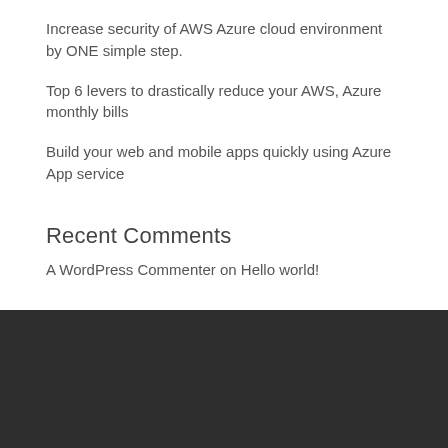Increase security of AWS Azure cloud environment by ONE simple step.
Top 6 levers to drastically reduce your AWS, Azure monthly bills
Build your web and mobile apps quickly using Azure App service
Recent Comments
A WordPress Commenter on Hello world!